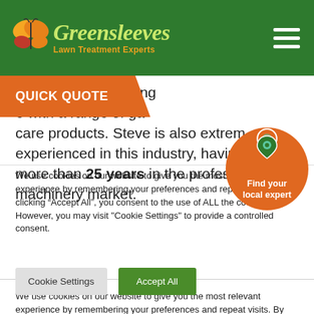Greensleeves Lawn Treatment Experts
[Figure (logo): Greensleeves Lawn Treatment Experts logo with butterfly and green cursive text on dark green background]
advising and supplying with a range of garden care products. Steve is also extremely experienced in this industry, having worked more than 25 years in the professional turf machinery market.
[Figure (infographic): Orange circle button with map pin icon and text 'Find your local expert']
We use cookies on our website to give you the most relevant experience by remembering your preferences and repeat visits. By clicking “Accept All”, you consent to the use of ALL the cookies. However, you may visit "Cookie Settings" to provide a controlled consent.